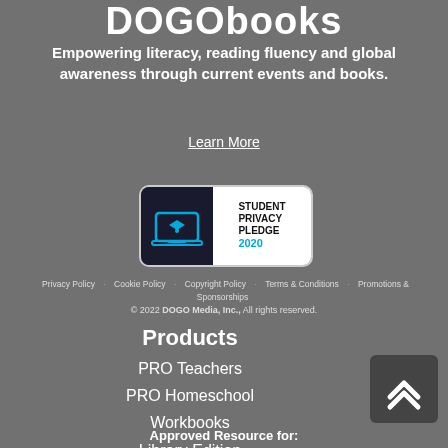DOGObooks
Empowering literacy, reading fluency and global awareness through current events and books.
Learn More
[Figure (logo): Student Privacy Pledge 2020 badge with laptop icon on dark background]
Privacy Policy  Cookie Policy  Copyright Policy  Terms & Conditions  Promotions & Sponsorships
© 2022 DOGO Media, Inc., All rights reserved.
Products
PRO Teachers
PRO Homeschool
Workbooks
Library Edition
Approved Resource for: